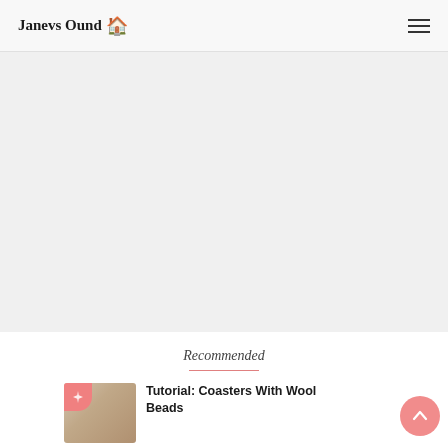Janevs Ound
[Figure (other): Large advertisement or blank content area]
Recommended
[Figure (photo): Thumbnail image of coasters with wool beads craft tutorial, with pink sparkle badge in top-left corner]
Tutorial: Coasters With Wool Beads